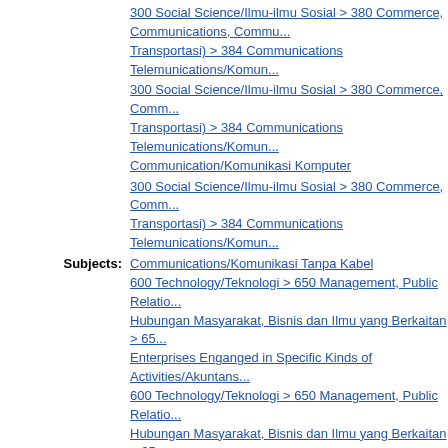300 Social Science/Ilmu-ilmu Sosial > 380 Commerce, Communications, Transportation/Perdagangan, Komunikasi, Transportasi) > 384 Communications Telemunications/Komunikasi Telekomunikasi
300 Social Science/Ilmu-ilmu Sosial > 380 Commerce, Communications, Transportation/Perdagangan, Komunikasi, Transportasi) > 384 Communications Telemunications/Komunikasi Telekomunikasi > 384.3 Computer Communication/Komunikasi Komputer
300 Social Science/Ilmu-ilmu Sosial > 380 Commerce, Communications, Transportation/Perdagangan, Komunikasi, Transportasi) > 384 Communications Telemunications/Komunikasi Telekomunikasi > Communications/Komunikasi Tanpa Kabel
Subjects: Communications/Komunikasi Tanpa Kabel
600 Technology/Teknologi > 650 Management, Public Relations, Business and Auxiliary Services/Manajemen, Hubungan Masyarakat, Bisnis dan Ilmu yang Berkaitan > 657 Enterprises Enganged in Specific Kinds of Activities/Akuntansi
600 Technology/Teknologi > 650 Management, Public Relations, Business and Auxiliary Services/Manajemen, Hubungan Masyarakat, Bisnis dan Ilmu yang Berkaitan > 657 Enterprises Enganged in Specific Kinds of Activities/Akuntansi > 657.84 Communications and Entertainment Media/Media K
Divisions: Fakultas Teknik > Teknik Elektro
Depositing User: Dede Muksin Lubis
Date Deposited: 24 Jun 2019 03:09
Last Modified: 24 Jun 2019 03:09
URI: http://repository.mercubuana.ac.id/id/eprint/49036
Actions (login required)
View Item